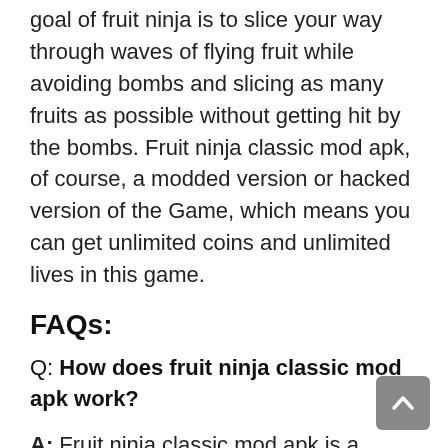goal of fruit ninja is to slice your way through waves of flying fruit while avoiding bombs and slicing as many fruits as possible without getting hit by the bombs. Fruit ninja classic mod apk, of course, a modded version or hacked version of the Game, which means you can get unlimited coins and unlimited lives in this game.
FAQs:
Q: How does fruit ninja classic mod apk work?
A: Fruit ninja classic mod apk is a fantastic game that you can play on your android device.